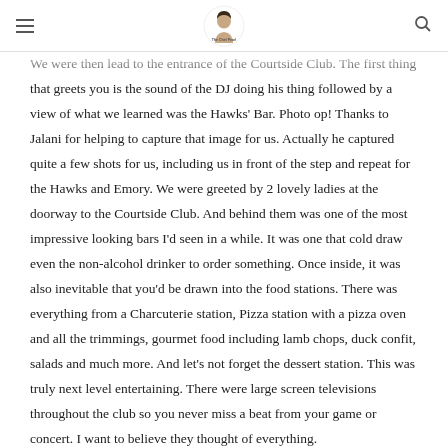The Chef Pearl (logo)
We were then lead to the entrance of the Courtside Club. The first thing that greets you is the sound of the DJ doing his thing followed by a view of what we learned was the Hawks' Bar. Photo op! Thanks to Jalani for helping to capture that image for us. Actually he captured quite a few shots for us, including us in front of the step and repeat for the Hawks and Emory. We were greeted by 2 lovely ladies at the doorway to the Courtside Club. And behind them was one of the most impressive looking bars I'd seen in a while. It was one that cold draw even the non-alcohol drinker to order something. Once inside, it was also inevitable that you'd be drawn into the food stations. There was everything from a Charcuterie station, Pizza station with a pizza oven and all the trimmings, gourmet food including lamb chops, duck confit, salads and much more. And let's not forget the dessert station. This was truly next level entertaining. There were large screen televisions throughout the club so you never miss a beat from your game or concert. I want to believe they thought of everything.